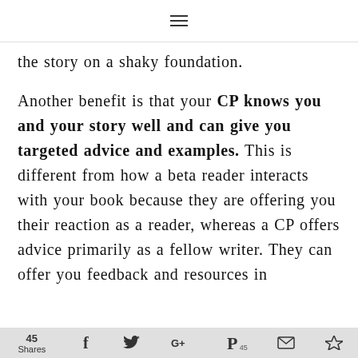☰
the story on a shaky foundation.
Another benefit is that your CP knows you and your story well and can give you targeted advice and examples. This is different from how a beta reader interacts with your book because they are offering you their reaction as a reader, whereas a CP offers advice primarily as a fellow writer. They can offer you feedback and resources in
45 Shares | f | twitter | G+ | P 45 | mail | crown